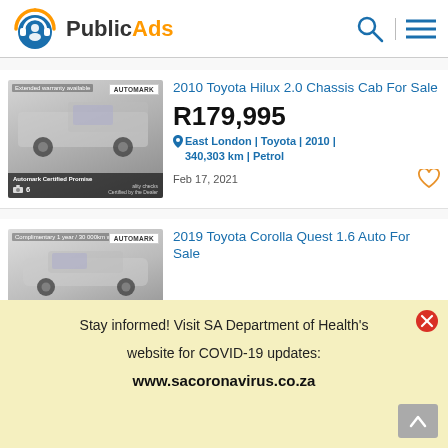PublicAds
2010 Toyota Hilux 2.0 Chassis Cab For Sale
R179,995
East London | Toyota | 2010 | 340,303 km | Petrol
Feb 17, 2021
2019 Toyota Corolla Quest 1.6 Auto For Sale
Stay informed! Visit SA Department of Health's website for COVID-19 updates: www.sacoronavirus.co.za